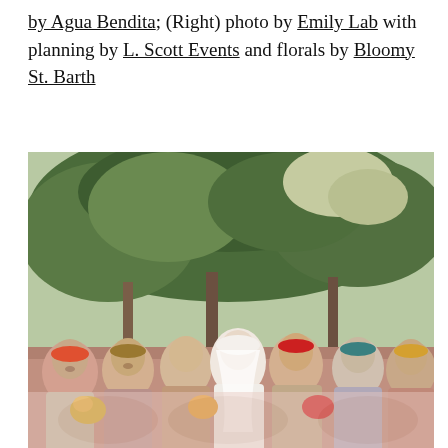by Agua Bendita; (Right) photo by Emily Lab with planning by L. Scott Events and florals by Bloomy St. Barth
[Figure (photo): A bride in a white dress and veil stands in the center surrounded by bridesmaids wearing colorful floral dresses and colorful headbands, outdoors in front of lush green trees.]